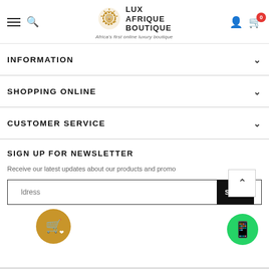LUX AFRIQUE BOUTIQUE — Africa's first online luxury boutique
INFORMATION
SHOPPING ONLINE
CUSTOMER SERVICE
SIGN UP FOR NEWSLETTER
Receive our latest updates about our products and promo
ldress  SUBM